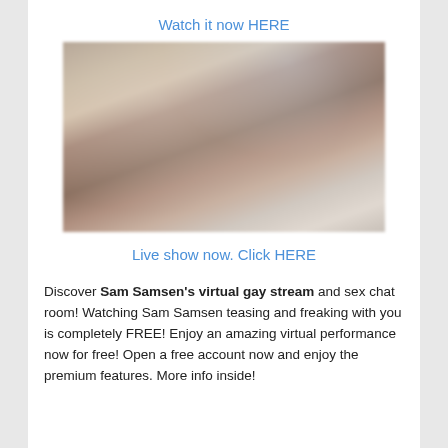Watch it now HERE
[Figure (photo): Blurry photo of a person indoors]
Live show now. Click HERE
Discover Sam Samsen’s virtual gay stream and sex chat room! Watching Sam Samsen teasing and freaking with you is completely FREE! Enjoy an amazing virtual performance now for free! Open a free account now and enjoy the premium features. More info inside!